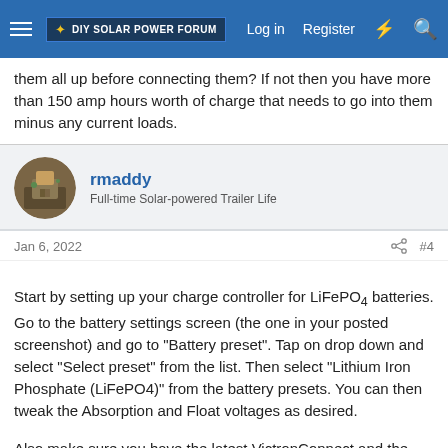DIY Solar Power Forum — Log in | Register
them all up before connecting them? If not then you have more than 150 amp hours worth of charge that needs to go into them minus any current loads.
rmaddy
Full-time Solar-powered Trailer Life
Jan 6, 2022	#4
Start by setting up your charge controller for LiFePO₄ batteries. Go to the battery settings screen (the one in your posted screenshot) and go to "Battery preset". Tap on drop down and select "Select preset" from the list. Then select "Lithium Iron Phosphate (LiFePO4)" from the battery presets. You can then tweak the Absorption and Float voltages as desired.

Also make sure you have the latest VictronConnect and the latest firmware on your 100/50.